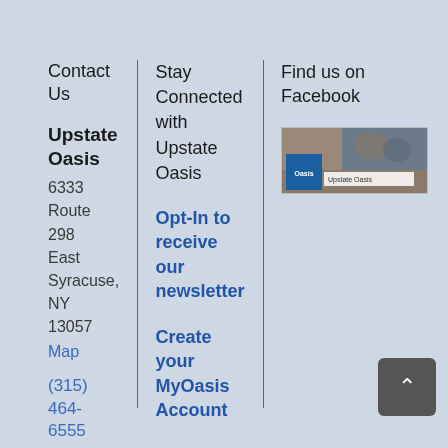Contact Us
Upstate Oasis
6333 Route 298
East Syracuse, NY 13057
Map
(315) 464-6555
Stay Connected with Upstate Oasis
Opt-In to receive our newsletter
Create your MyOasis Account
Find us on Facebook
[Figure (screenshot): Facebook page thumbnail for Upstate Oasis showing a banner image and the Oasis logo with a Like link]
[Figure (other): Back to top button — dark grey rounded square with upward chevron arrow]